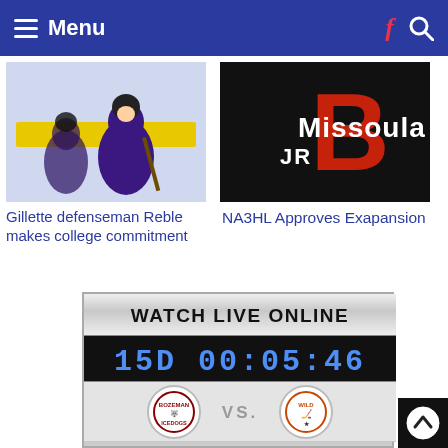Menu
[Figure (photo): Hockey player defenseman in purple and black uniform on ice]
Gillette defenseman Reble makes college commitment
[Figure (logo): Missoula JR B logo on black background with red letter B]
NA3HL Approves Exapansion
[Figure (infographic): Watch Live Online widget showing countdown timer 15D 00:05:46 and matchup between Bozeman Icedogs vs Wild team logos]